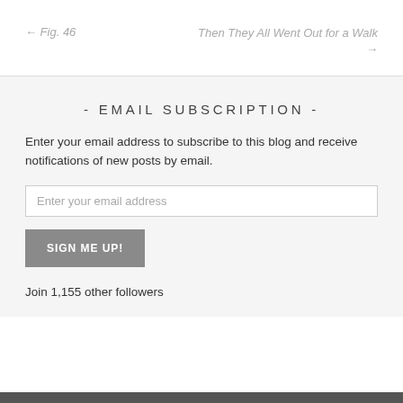← Fig. 46
Then They All Went Out for a Walk →
- EMAIL SUBSCRIPTION -
Enter your email address to subscribe to this blog and receive notifications of new posts by email.
Enter your email address
SIGN ME UP!
Join 1,155 other followers